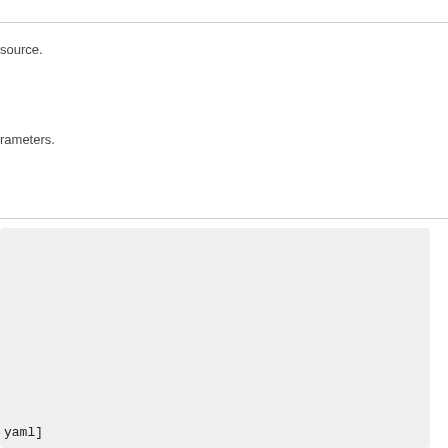source.
rameters.
[Figure (screenshot): Code block with light gray background containing partial YAML code snippet ending with 'yaml]']